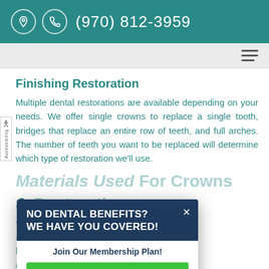(970) 812-3959
Finishing Restoration
Multiple dental restorations are available depending on your needs. We offer single crowns to replace a single tooth, bridges that replace an entire row of teeth, and full arches. The number of teeth you want to be replaced will determine which type of restoration we'll use.
Materials Used For Crowns & Restorations
We craft our crowns and finishing restorations out of high-quality materials that are built to last. These materials have different advantages and...
NO DENTAL BENEFITS? WE HAVE YOU COVERED!
Join Our Membership Plan!
LEARN MORE